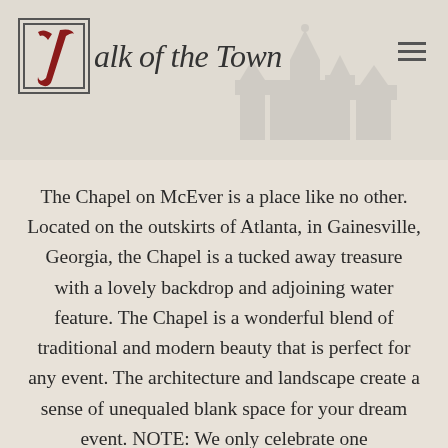[Figure (logo): Talk of the Town logo with stylized T in a box and cursive script text]
The Chapel on McEver is a place like no other. Located on the outskirts of Atlanta, in Gainesville, Georgia, the Chapel is a tucked away treasure with a lovely backdrop and adjoining water feature. The Chapel is a wonderful blend of traditional and modern beauty that is perfect for any event. The architecture and landscape create a sense of unequaled blank space for your dream event. NOTE: We only celebrate one event/wedding a week for exclusivity.